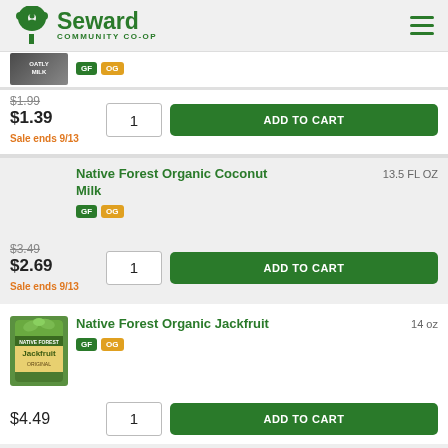Seward Community Co-op
$1.99 $1.39 Sale ends 9/13 — GF OG badges — ADD TO CART
Native Forest Organic Coconut Milk — 13.5 FL OZ — GF OG — $3.49 $2.69 Sale ends 9/13 — ADD TO CART
Native Forest Organic Jackfruit — 14 oz — GF OG — $4.49 — ADD TO CART